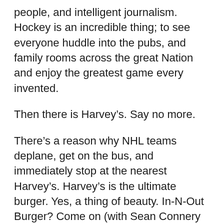people, and intelligent journalism. Hockey is an incredible thing; to see everyone huddle into the pubs, and family rooms across the great Nation and enjoy the greatest game every invented.
Then there is Harvey’s. Say no more.
There’s a reason why NHL teams deplane, get on the bus, and immediately stop at the nearest Harvey’s. Harvey’s is the ultimate burger. Yes, a thing of beauty. In-N-Out Burger? Come on (with Sean Connery accent), you must be joking! There are no secret messages of dubious distinction on these beauties, just the best damn burger you’ll ever find… anywhere. Period.
Gophers (still)